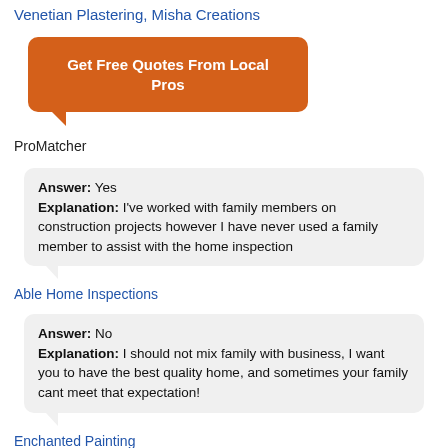Venetian Plastering, Misha Creations
[Figure (other): Orange CTA button with speech bubble tail: 'Get Free Quotes From Local Pros']
ProMatcher
Answer: Yes
Explanation: I've worked with family members on construction projects however I have never used a family member to assist with the home inspection
Able Home Inspections
Answer: No
Explanation: I should not mix family with business, I want you to have the best quality home, and sometimes your family cant meet that expectation!
Enchanted Painting